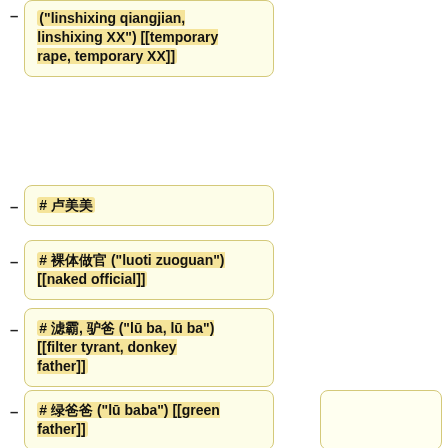("linshixing qiangjian, linshixing XX") [[temporary rape, temporary XX]]
# 卢美美
# 裸体做官 ("luoti zuoguan") [[naked official]]
# 滤霸, 驴爸 ("lū ba, lū ba") [[filter tyrant, donkey father]]
# 绿爸爸 ("lū baba") [[green father]]
# 绿坝娘 ("Lū Ba Niang") [[green dam girl]]
# [[轮流发生性关系]]